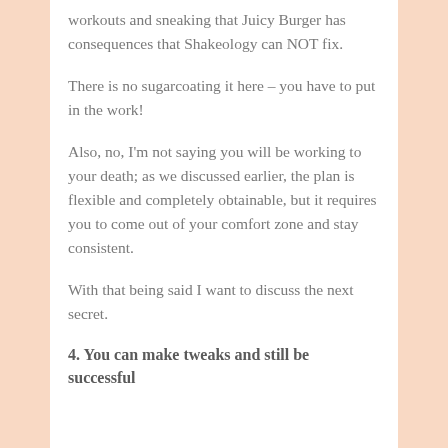workouts and sneaking that Juicy Burger has consequences that Shakeology can NOT fix.
There is no sugarcoating it here – you have to put in the work!
Also, no, I'm not saying you will be working to your death; as we discussed earlier, the plan is flexible and completely obtainable, but it requires you to come out of your comfort zone and stay consistent.
With that being said I want to discuss the next secret.
4. You can make tweaks and still be successful